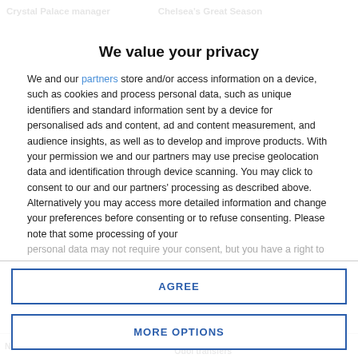Crystal Palace manager   Chelsea's Great Season
We value your privacy
We and our partners store and/or access information on a device, such as cookies and process personal data, such as unique identifiers and standard information sent by a device for personalised ads and content, ad and content measurement, and audience insights, as well as to develop and improve products. With your permission we and our partners may use precise geolocation data and identification through device scanning. You may click to consent to our and our partners' processing as described above. Alternatively you may access more detailed information and change your preferences before consenting or to refuse consenting. Please note that some processing of your personal data may not require your consent, but you have a right to
AGREE
MORE OPTIONS
Newcastle United   career ended   Gallagher and Hudson- Odoi transfers